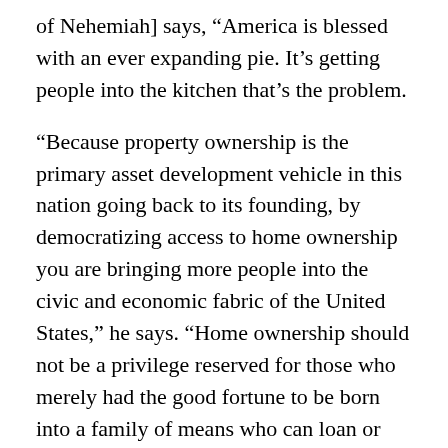of Nehemiah] says, “America is blessed with an ever expanding pie. It’s getting people into the kitchen that’s the problem.
“Because property ownership is the primary asset development vehicle in this nation going back to its founding, by democratizing access to home ownership you are bringing more people into the civic and economic fabric of the United States,” he says. “Home ownership should not be a privilege reserved for those who merely had the good fortune to be born into a family of means who can loan or give them a down payment.”
And with that insight was born the down payment assistance program. Those numbers on the screen tell the story. The “3” next to “gift percent” means that Nehemiah is giving this